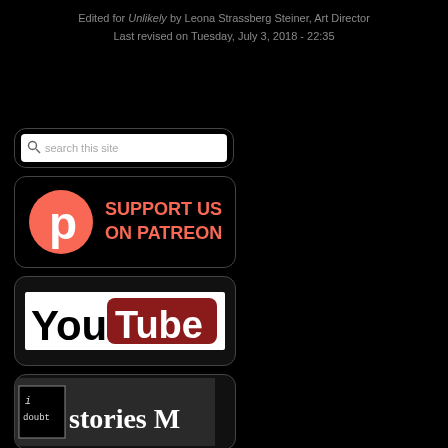Edited for Unlikely by Leona Strassberg Steiner, Art Director
Last revised on Tuesday, July 3, 2018 - 22:35
[Figure (screenshot): Search box widget with placeholder text 'search this site']
[Figure (logo): Patreon support button: orange Patreon logo with text SUPPORT US ON PATREON]
[Figure (logo): YouTube logo button: black 'You' text next to dark red rounded rectangle with white 'Tube' text]
[Figure (logo): Stories M logo: 'i doubt' text with 'stories M' in mixed typefaces on dark background]